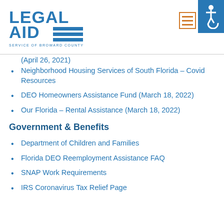[Figure (logo): Legal Aid Service of Broward County logo with blue text and horizontal stripes]
(April 26, 2021)
Neighborhood Housing Services of South Florida – Covid Resources
DEO Homeowners Assistance Fund (March 18, 2022)
Our Florida – Rental Assistance (March 18, 2022)
Government & Benefits
Department of Children and Families
Florida DEO Reemployment Assistance FAQ
SNAP Work Requirements
IRS Coronavirus Tax Relief Page